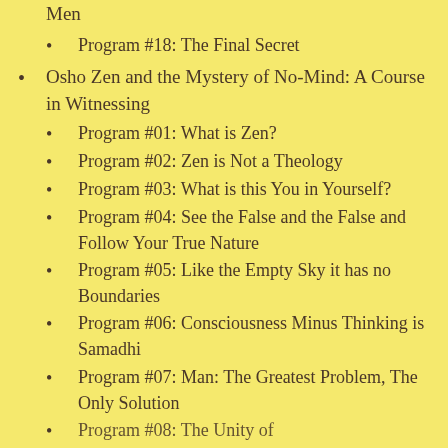Men
Program #18: The Final Secret
Osho Zen and the Mystery of No-Mind: A Course in Witnessing
Program #01: What is Zen?
Program #02: Zen is Not a Theology
Program #03: What is this You in Yourself?
Program #04: See the False and the False and Follow Your True Nature
Program #05: Like the Empty Sky it has no Boundaries
Program #06: Consciousness Minus Thinking is Samadhi
Program #07: Man: The Greatest Problem, The Only Solution
Program #08: The Unity of…